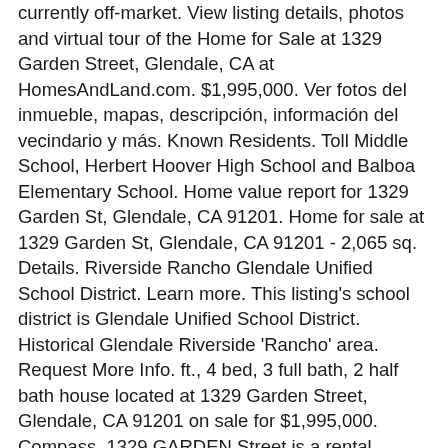currently off-market. View listing details, photos and virtual tour of the Home for Sale at 1329 Garden Street, Glendale, CA at HomesAndLand.com. $1,995,000. Ver fotos del inmueble, mapas, descripción, información del vecindario y más. Known Residents. Toll Middle School, Herbert Hoover High School and Balboa Elementary School. Home value report for 1329 Garden St, Glendale, CA 91201. Home for sale at 1329 Garden St, Glendale, CA 91201 - 2,065 sq. Details. Riverside Rancho Glendale Unified School District. Learn more. This listing's school district is Glendale Unified School District. Historical Glendale Riverside 'Rancho' area. Request More Info. ft., 4 bed, 3 full bath, 2 half bath house located at 1329 Garden Street, Glendale, CA 91201 on sale for $1,995,000. Compass. 1329 GARDEN Street is a rental property located in Glendale, CA. Separate ADU/guest house has living area, kitchen, bedroom and bath with French doors opening to private patio. Photos and Property Details for 1329 GARDEN STREET, GLENDALE, CA 91201. Through a combination of sophisticated marketing, currently off-market listing of off-list...